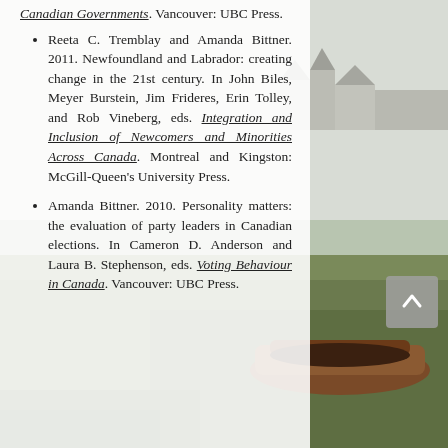Canadian Governments. Vancouver: UBC Press.
Reeta C. Tremblay and Amanda Bittner. 2011. Newfoundland and Labrador: creating change in the 21st century. In John Biles, Meyer Burstein, Jim Frideres, Erin Tolley, and Rob Vineberg, eds. Integration and Inclusion of Newcomers and Minorities Across Canada. Montreal and Kingston: McGill-Queen's University Press.
Amanda Bittner. 2010. Personality matters: the evaluation of party leaders in Canadian elections. In Cameron D. Anderson and Laura B. Stephenson, eds. Voting Behaviour in Canada. Vancouver: UBC Press.
[Figure (photo): Coastal landscape photo showing a old wooden boat on grassy land near water, with buildings visible in background. Muted natural tones.]